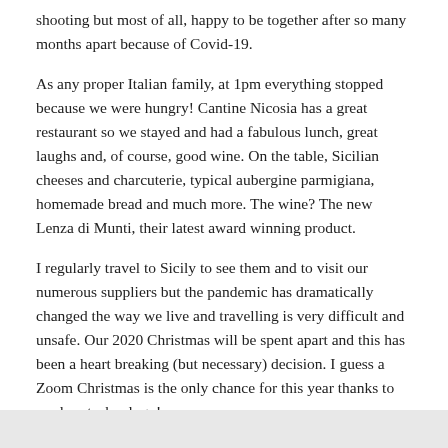shooting but most of all, happy to be together after so many months apart because of Covid-19.
As any proper Italian family, at 1pm everything stopped because we were hungry! Cantine Nicosia has a great restaurant so we stayed and had a fabulous lunch, great laughs and, of course, good wine. On the table, Sicilian cheeses and charcuterie, typical aubergine parmigiana, homemade bread and much more. The wine? The new Lenza di Munti, their latest award winning product.
I regularly travel to Sicily to see them and to visit our numerous suppliers but the pandemic has dramatically changed the way we live and travelling is very difficult and unsafe. Our 2020 Christmas will be spent apart and this has been a heart breaking (but necessary) decision. I guess a Zoom Christmas is the only chance for this year thanks to modern technology!
So, when you enjoy our wines, think to the Raimondi's family, passionate wine and food lovers.